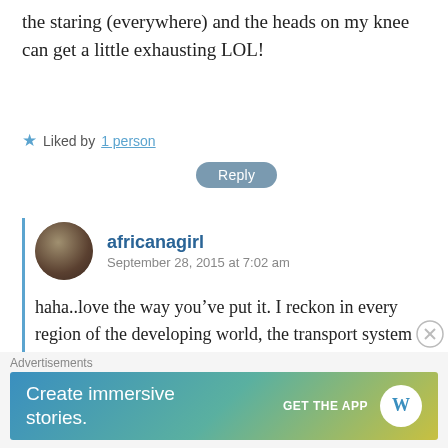the staring (everywhere) and the heads on my knee can get a little exhausting LOL!
Liked by 1 person
Reply
africanagirl
September 28, 2015 at 7:02 am
haha..love the way you’ve put it. I reckon in every region of the developing world, the transport system gives one a closer look at the culture of the inhabitants there. I look forward to heading to Tanzania and reporting on the public vehicles
Advertisements
[Figure (screenshot): WordPress app advertisement banner: 'Create immersive stories.' with GET THE APP call-to-action and WordPress logo]